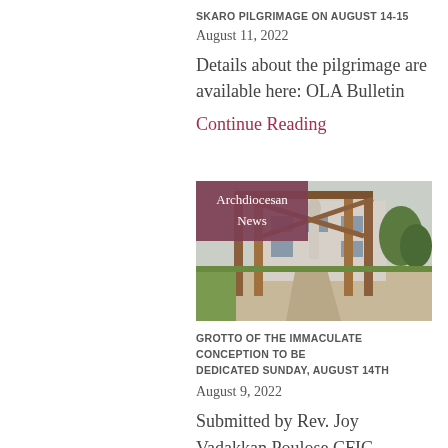SKARO PILGRIMAGE ON AUGUST 14-15
August 11, 2022
Details about the pilgrimage are available here: OLA Bulletin
Continue Reading
[Figure (photo): Outdoor photo of a church or shrine entrance with wooden columns/posts forming an archway, and a statue visible in the background. A purple/mauve overlay box in the top-left corner reads 'Archdiocesan News'.]
GROTTO OF THE IMMACULATE CONCEPTION TO BE DEDICATED SUNDAY, AUGUST 14TH
August 9, 2022
Submitted by Rev. Joy Vadakkan Poulose CFIC “Grotte of the Immaculate Conception” at Holy Name Parish in